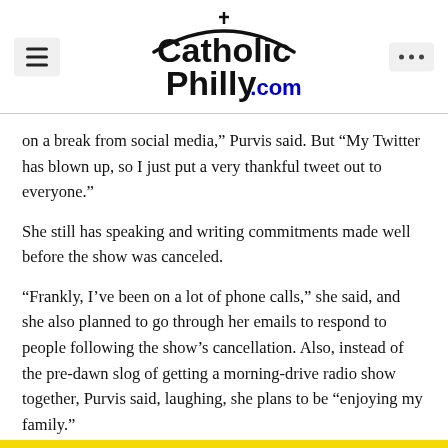CatholicPhilly.com
on a break from social media,” Purvis said. But “My Twitter has blown up, so I just put a very thankful tweet out to everyone.”
She still has speaking and writing commitments made well before the show was canceled.
“Frankly, I’ve been on a lot of phone calls,” she said, and she also planned to go through her emails to respond to people following the show’s cancellation. Also, instead of the pre-dawn slog of getting a morning-drive radio show together, Purvis said, laughing, she plans to be “enjoying my family.”